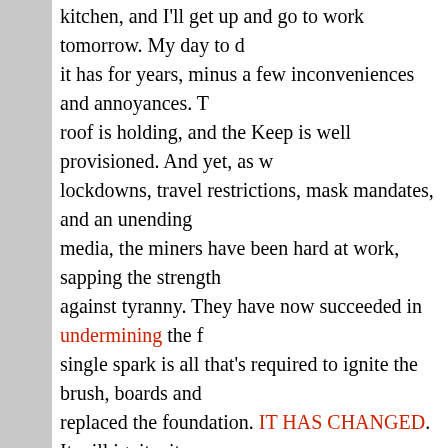kitchen, and I'll get up and go to work tomorrow. My day to day life continues as it has for years, minus a few inconveniences and annoyances. The roof is holding, and the Keep is well provisioned. And yet, as with lockdowns, travel restrictions, mask mandates, and an unending assault via media, the miners have been hard at work, sapping the strength of the will against tyranny. They have now succeeded in undermining the foundation. A single spark is all that's required to ignite the brush, boards and timbers that replaced the foundation. IT HAS CHANGED. It will ignite, it will burn. Great will be the fall thereof.
Our society, our rights, our government, and we as a people have changed.
Roger Williams, the “man among the gentiles” was the beginning of a foundation that supported the structure for nearly 400 years. But following the pattern, it has been destroyed in the expected time period. All the sweeping off soon to come. We may yet have a few years of relative peace to build a temple, but even that is in terrible jeopardy at this moment.
For as their laws and their governments were established by the voice of the people, and they who chose evil were more numerous than